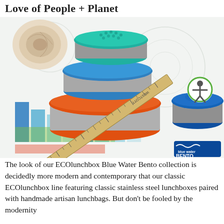Love of People + Planet
[Figure (photo): Photo of stacked ECOlunchbox Blue Water Bento stainless steel containers with colorful silicone lids (teal, blue, orange) alongside a wooden ruler, a seashell, and a bar chart in the background. A blue water bento container is visible on the right. An accessibility icon badge overlays the top right.]
The look of our ECOlunchbox Blue Water Bento collection is decidedly more modern and contemporary that our classic ECOlunchbox line featuring classic stainless steel lunchboxes paired with handmade artisan lunchbags. But don't be fooled by the modernity